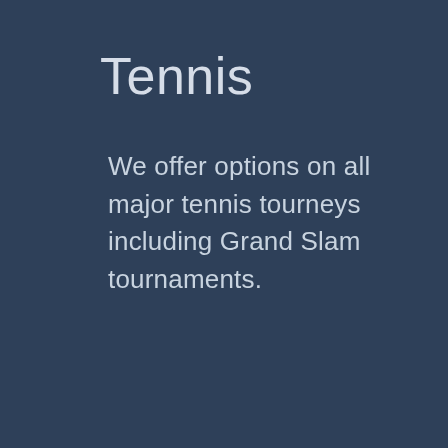Tennis
We offer options on all major tennis tourneys including Grand Slam tournaments.